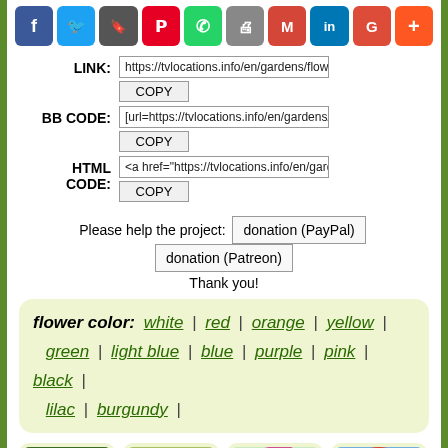[Figure (infographic): Social media share icons: Facebook, Twitter, Google Bookmarks, Pinterest, WhatsApp, Print, Gmail, LinkedIn, Google+, Add/Plus]
LINK: https://tvlocations.info/en/gardens/flowers/color/re [COPY]
BB CODE: [url=https://tvlocations.info/en/gardens/flowers/co [COPY]
HTML CODE: <a href="https://tvlocations.info/en/gardens/flowe [COPY]
Please help the project: donation (PayPal)  donation (Patreon)
Thank you!
flower color: white | red | orange | yellow | green | light blue | blue | purple | pink | black | lilac | burgundy |
[Figure (photo): Four garden/plant thumbnails in rounded light green boxes: pink flower, green fern, pink flowering tree, red tree]